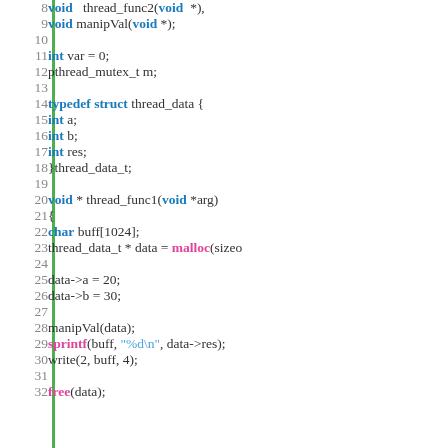Code listing showing C thread function definitions, lines 8-32, including typedef struct thread_data, void* thread_func1, char buffer, malloc, data assignments, manipVal call, sprintf, write, and free.